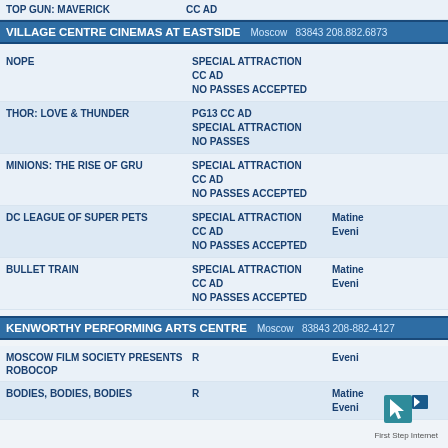| Movie | Details | Showtimes |
| --- | --- | --- |
| TOP GUN: MAVERICK | CC AD |  |
VILLAGE CENTRE CINEMAS AT EASTSIDE  Moscow  83843 208.882.6873
| Movie | Details | Showtimes |
| --- | --- | --- |
| NOPE | SPECIAL ATTRACTION
CC AD
NO PASSES ACCEPTED |  |
| THOR: LOVE & THUNDER | PG13 CC AD
SPECIAL ATTRACTION
NO PASSES |  |
| MINIONS: THE RISE OF GRU | SPECIAL ATTRACTION
CC AD
NO PASSES ACCEPTED |  |
| DC LEAGUE OF SUPER PETS | SPECIAL ATTRACTION
CC AD
NO PASSES ACCEPTED | Matine...
Eveni... |
| BULLET TRAIN | SPECIAL ATTRACTION
CC AD
NO PASSES ACCEPTED | Matine...
Eveni... |
KENWORTHY PERFORMING ARTS CENTRE  Moscow  83843 208-882-4127
| Movie | Details | Showtimes |
| --- | --- | --- |
| MOSCOW FILM SOCIETY PRESENTS ROBOCOP | R | Eveni... |
| BODIES, BODIES, BODIES | R | Matine...
Eveni... |
[Figure (logo): First Step Internet logo with stylized arrow/cursor icon]